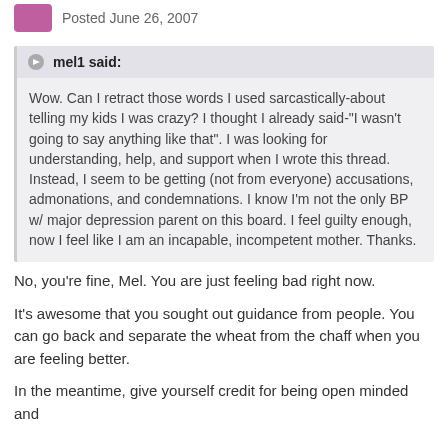Posted June 26, 2007
mel1 said:
Wow. Can I retract those words I used sarcastically-about telling my kids I was crazy? I thought I already said-"I wasn't going to say anything like that". I was looking for understanding, help, and support when I wrote this thread. Instead, I seem to be getting (not from everyone) accusations, admonations, and condemnations. I know I'm not the only BP w/ major depression parent on this board. I feel guilty enough, now I feel like I am an incapable, incompetent mother. Thanks.
No, you're fine, Mel. You are just feeling bad right now.
It's awesome that you sought out guidance from people. You can go back and separate the wheat from the chaff when you are feeling better.
In the meantime, give yourself credit for being open minded and